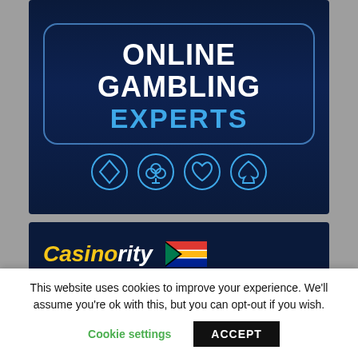[Figure (illustration): Online Gambling Experts banner with dark blue background, glowing rounded rectangle border, large white bold text 'ONLINE GAMBLING' and blue bold text 'EXPERTS', and four card suit icons (diamond, club, heart, spade) in glowing circles below.]
[Figure (logo): Casinority logo with yellow 'Casino' and white 'rity' italic text on dark blue background, with South Africa flag arrow logo on the right.]
This website uses cookies to improve your experience. We'll assume you're ok with this, but you can opt-out if you wish.
Cookie settings   ACCEPT